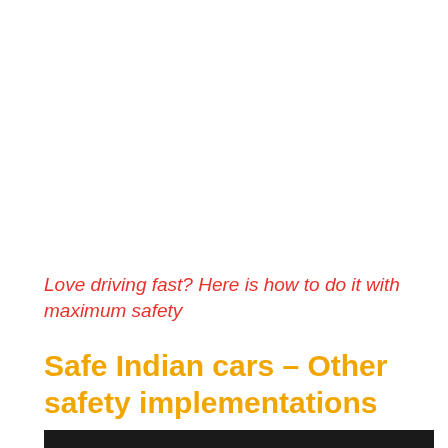Love driving fast? Here is how to do it with maximum safety
Safe Indian cars – Other safety implementations